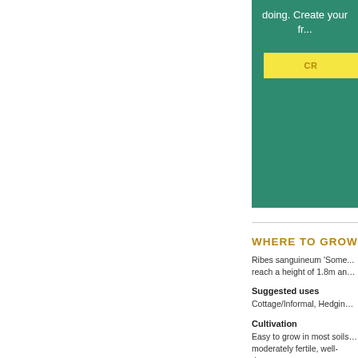doing. Create your fr...
[Figure (other): Yellow button partially visible with text 'CR...' on teal background]
WHERE TO GROW
Ribes sanguineum 'Some... reach a height of 1.8m and...
Suggested uses
Cottage/Informal, Hedging...
Cultivation
Easy to grow in most soils... moderately fertile, well-dra...
Soil type
Chalky, Clay, Loamy, Sand...
Soil drainage
Moist but well-drained, We...